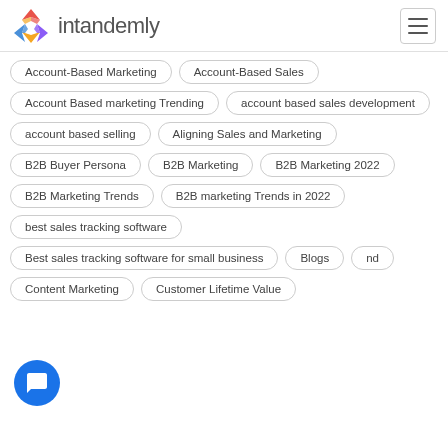intandemly
Account-Based Marketing
Account-Based Sales
Account Based marketing Trending
account based sales development
account based selling
Aligning Sales and Marketing
B2B Buyer Persona
B2B Marketing
B2B Marketing 2022
B2B Marketing Trends
B2B marketing Trends in 2022
best sales tracking software
Best sales tracking software for small business
Blogs
nd
Content Marketing
Customer Lifetime Value